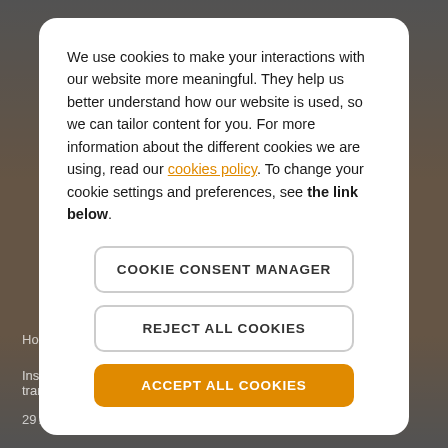We use cookies to make your interactions with our website more meaningful. They help us better understand how our website is used, so we can tailor content for you. For more information about the different cookies we are using, read our cookies policy. To change your cookie settings and preferences, see the link below.
COOKIE CONSENT MANAGER
REJECT ALL COOKIES
ACCEPT ALL COOKIES